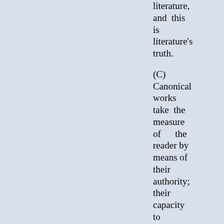literature, and this is literature's truth.
(C) Canonical works take the measure of the reader by means of their authority; their capacity to rebuke, baffles, and thwart us, as well as surprise